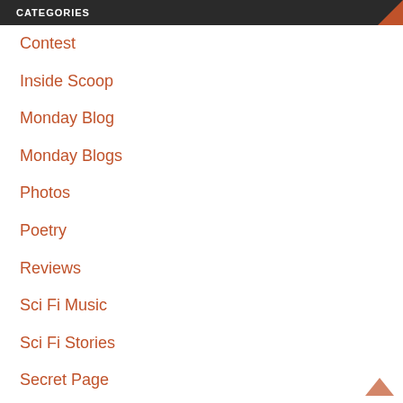CATEGORIES
Contest
Inside Scoop
Monday Blog
Monday Blogs
Photos
Poetry
Reviews
Sci Fi Music
Sci Fi Stories
Secret Page
Space
The Globe Folio
Uncategorized